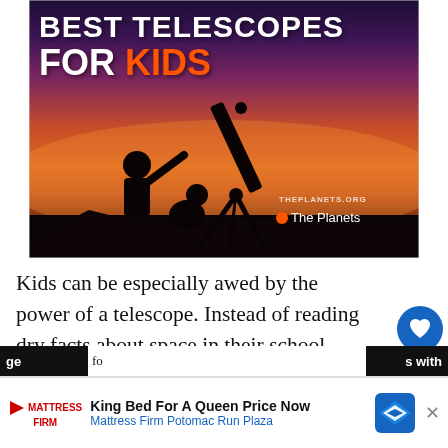[Figure (photo): Hero image showing silhouettes of an adult and child looking through a telescope against a purple-orange sunset sky. Text overlay reads 'BEST TELESCOPES FOR KIDS' with KIDS in orange. Watermark shows 'THEPLANETS.ORG' and 'The Planets' logo.]
Kids can be especially awed by the power of a telescope. Instead of reading dry facts about space in their school textbooks, they can turn astronomy into a living subject right before their eyes! If you want to start or nurture your child's interest in space, consider buying them a telescope. You don't have to be a technical
[Figure (screenshot): Social share sidebar with heart icon button (blue circle), count '3', and share icon button. Below that a 'WHAT'S NEXT' panel showing a thumbnail of a silhouette figure with text 'Best Beginner Telescope -...']
[Figure (other): Advertisement bar at bottom: Mattress Firm logo with play button, text 'King Bed For A Queen Price Now' and 'Mattress Firm Potomac Run Plaza', blue diamond navigation icon, and X close button.]